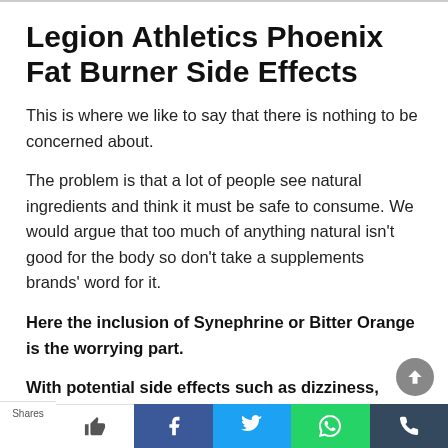Legion Athletics Phoenix Fat Burner Side Effects
This is where we like to say that there is nothing to be concerned about.
The problem is that a lot of people see natural ingredients and think it must be safe to consume. We would argue that too much of anything natural isn't good for the body so don't take a supplements brands' word for it.
Here the inclusion of Synephrine or Bitter Orange is the worrying part.
With potential side effects such as dizziness, burning, stinging, blurred vision, drowsiness and